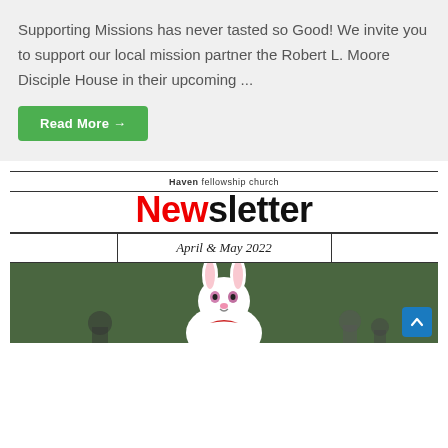Supporting Missions has never tasted so Good! We invite you to support our local mission partner the Robert L. Moore Disciple House in their upcoming ...
Read More →
[Figure (screenshot): Haven Fellowship Church Newsletter header with title 'Newsletter' in large bold text, subtitle 'April & May 2022' in italic script, and a photo of a white Easter bunny character with people in the background.]